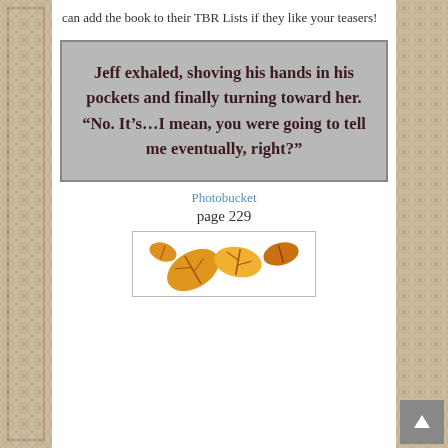can add the book to their TBR Lists if they like your teasers!
[Figure (other): Gray quote box with bold dark red text: Jeff exhaled, shoving his hands in his pockets and finally turning toward her. “No. It’s…I mean, you were going to tell me eventually, right?”]
[Figure (other): Photobucket broken image link placeholder]
page 229
[Figure (photo): Autumn/fall leaves (orange and yellow maple leaves) on white background, partially shown at bottom of page]